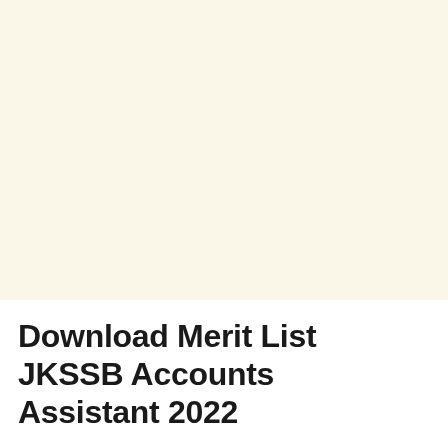Download Merit List JKSSB Accounts Assistant 2022